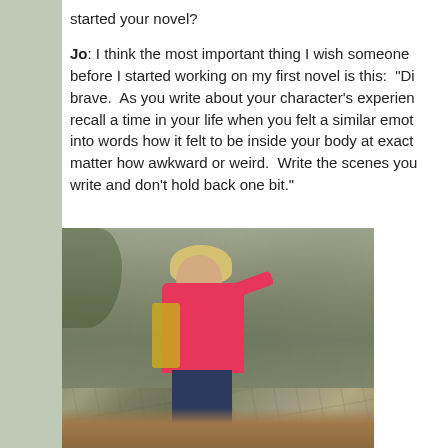started your novel?
Jo: I think the most important thing I wish someone before I started working on my first novel is this: “Di brave. As you write about your character’s experien recall a time in your life when you felt a similar emot into words how it felt to be inside your body at exact matter how awkward or weird. Write the scenes you write and don’t hold back one bit.”
[Figure (photo): A blonde woman wearing a pink jacket and backpack, standing outdoors near a rocky hillside with trees and fallen leaves, smiling and touching the rock face with one hand.]